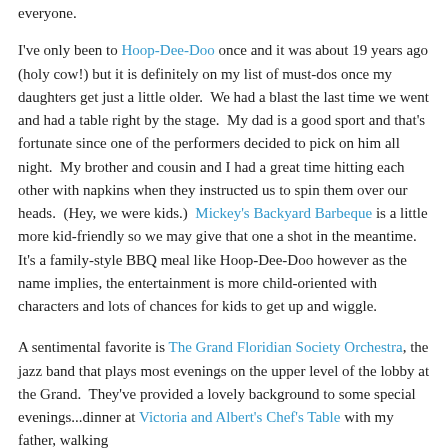everyone.
I've only been to Hoop-Dee-Doo once and it was about 19 years ago (holy cow!) but it is definitely on my list of must-dos once my daughters get just a little older.  We had a blast the last time we went and had a table right by the stage.  My dad is a good sport and that's fortunate since one of the performers decided to pick on him all night.  My brother and cousin and I had a great time hitting each other with napkins when they instructed us to spin them over our heads.  (Hey, we were kids.)  Mickey's Backyard Barbeque is a little more kid-friendly so we may give that one a shot in the meantime.  It's a family-style BBQ meal like Hoop-Dee-Doo however as the name implies, the entertainment is more child-oriented with characters and lots of chances for kids to get up and wiggle.
A sentimental favorite is The Grand Floridian Society Orchestra, the jazz band that plays most evenings on the upper level of the lobby at the Grand.  They've provided a lovely background to some special evenings...dinner at Victoria and Albert's Chef's Table with my father, walking the aisles of the lobby feeling like a princess after an evening like...